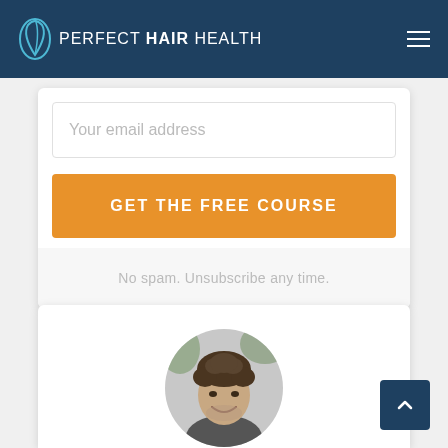PERFECT HAIR HEALTH
Your email address
GET THE FREE COURSE
No spam. Unsubscribe any time.
[Figure (photo): Black and white circular portrait photo of a smiling young man with curly hair]